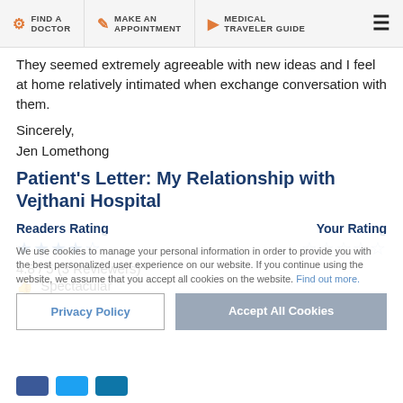FIND A DOCTOR | MAKE AN APPOINTMENT | MEDICAL TRAVELER GUIDE
They seemed extremely agreeable with new ideas and I feel at home relatively intimated when exchange conversation with them.
Sincerely,
Jen Lomethong
Patient's Letter: My Relationship with Vejthani Hospital
We use cookies to manage your personal information in order to provide you with the best personalized user experience on our website. If you continue using the website, we assume that you accept all cookies on the website. Find out more.
Readers Rating
Your Rating
4.8 / 5 (3 Reviewers)
Spectacular
Privacy Policy
Accept All Cookies